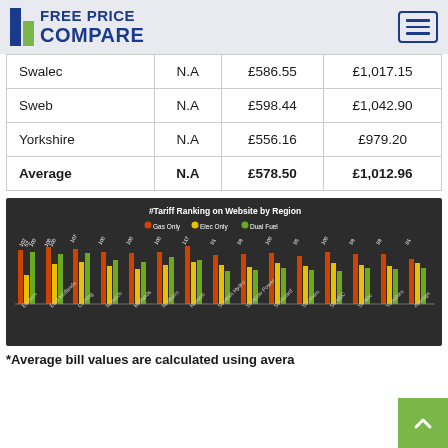FREE PRICE COMPARE
|  |  |  |  |
| --- | --- | --- | --- |
| Swalec | N.A | £586.55 | £1,017.15 |
| Sweb | N.A | £598.44 | £1,042.90 |
| Yorkshire | N.A | £556.16 | £979.20 |
| Average | N.A | £578.50 | £1,012.96 |
[Figure (grouped-bar-chart): Grouped bar chart showing tariff rankings on website by region, with three series: Gas Only (orange), Elec Only (yellow), Dual Fuel (green)]
*Average bill values are calculated using avera